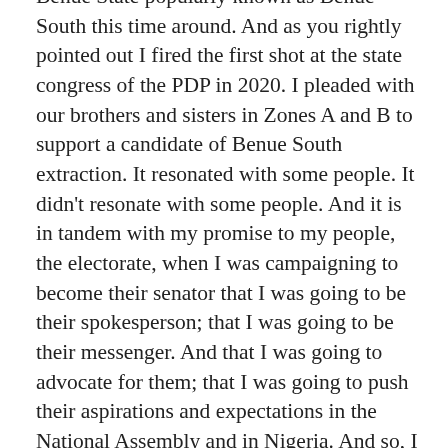Benue State popularly known as Benue South this time around. And as you rightly pointed out I fired the first shot at the state congress of the PDP in 2020. I pleaded with our brothers and sisters in Zones A and B to support a candidate of Benue South extraction. It resonated with some people. It didn't resonate with some people. And it is in tandem with my promise to my people, the electorate, when I was campaigning to become their senator that I was going to be their spokesperson; that I was going to be their messenger. And that I was going to advocate for them; that I was going to push their aspirations and expectations in the National Assembly and in Nigeria. And so, I will continue to do that. Part of the fallout of the agitation is the springing up of various platforms – Benue South for Governor, Benue Rebirth Movement, Benue South Caucus, Benue South Elders. Many of them like that are advocating for power shift and quite frankly some of them have even led movements to communities and individuals that are critical stakeholders in Benue politics.